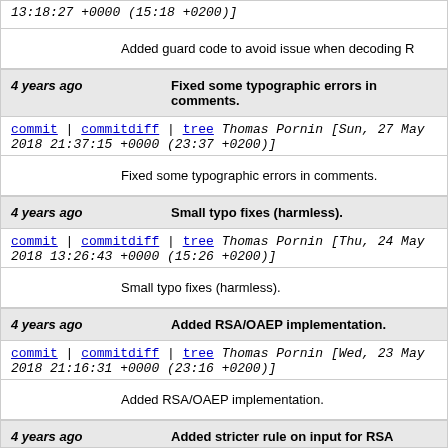13:18:27 +0000 (15:18 +0200)]
Added guard code to avoid issue when decoding R
4 years ago   Fixed some typographic errors in comments.
commit | commitdiff | tree   Thomas Pornin [Sun, 27 May 2018 21:37:15 +0000 (23:37 +0200)]
Fixed some typographic errors in comments.
4 years ago   Small typo fixes (harmless).
commit | commitdiff | tree   Thomas Pornin [Thu, 24 May 2018 13:26:43 +0000 (15:26 +0200)]
Small typo fixes (harmless).
4 years ago   Added RSA/OAEP implementation.
commit | commitdiff | tree   Thomas Pornin [Wed, 23 May 2018 21:16:31 +0000 (23:16 +0200)]
Added RSA/OAEP implementation.
4 years ago   Added stricter rule on input for RSA